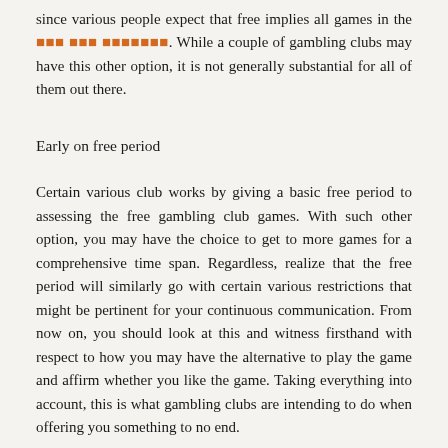since various people expect that free implies all games in the [orange text redacted]. While a couple of gambling clubs may have this other option, it is not generally substantial for all of them out there.
Early on free period
Certain various club works by giving a basic free period to assessing the free gambling club games. With such other option, you may have the choice to get to more games for a comprehensive time span. Regardless, realize that the free period will similarly go with certain various restrictions that might be pertinent for your continuous communication. From now on, you should look at this and witness firsthand with respect to how you may have the alternative to play the game and affirm whether you like the game. Taking everything into account, this is what gambling clubs are intending to do when offering you something to no end.